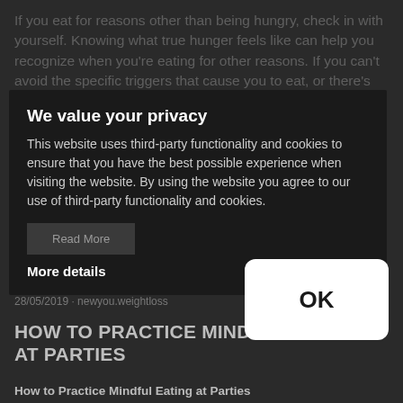If you eat for reasons other than being hungry, check in with yourself. Knowing what true hunger feels like can help you recognize when you're eating for other reasons. If you can't avoid the specific triggers that cause you to eat, or there's no way to avoid the specific ones, these strategies will help.
We value your privacy
This website uses third-party functionality and cookies to ensure that you have the best possible experience when visiting the website. By using the website you agree to our use of third-party functionality and cookies.
Read More
More details
28/05/2019 · newyou.weightloss
HOW TO PRACTICE MINDFUL EATING AT PARTIES
How to Practice Mindful Eating at Parties
OK